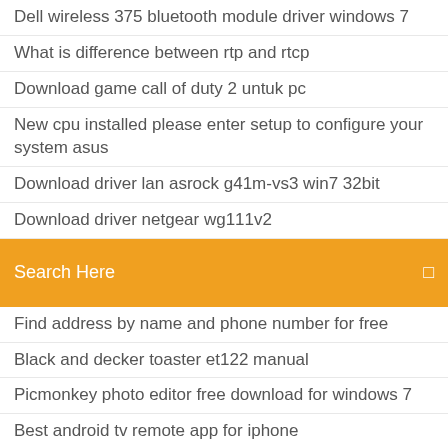Dell wireless 375 bluetooth module driver windows 7
What is difference between rtp and rtcp
Download game call of duty 2 untuk pc
New cpu installed please enter setup to configure your system asus
Download driver lan asrock g41m-vs3 win7 32bit
Download driver netgear wg111v2
Search Here
Find address by name and phone number for free
Black and decker toaster et122 manual
Picmonkey photo editor free download for windows 7
Best android tv remote app for iphone
Download realtek wireless driver for windows 8
Tp link wn725n driver windows 7
Screen mirroring samsung smart tv mac
Godfather cheats xbox
Recovery software free download for windows
Canon powershot sx730 vs 740